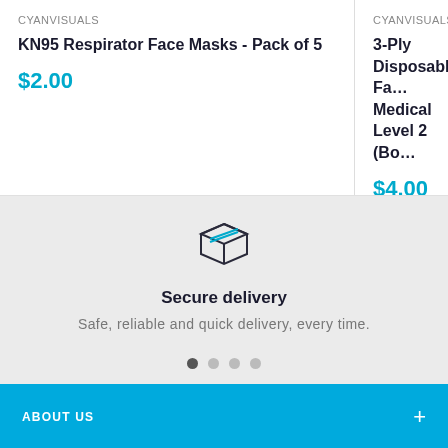CYANVISUALS
KN95 Respirator Face Masks - Pack of 5
$2.00
CYANVISUALS
3-Ply Disposable Fa... Medical Level 2 (Bo...
$4.00
[Figure (illustration): Box/package icon representing secure delivery]
Secure delivery
Safe, reliable and quick delivery, every time.
ABOUT US